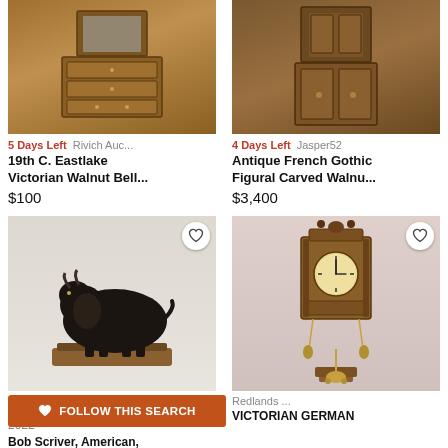[Figure (photo): 19th C. Eastlake Victorian Walnut Bellflower chest/dresser with mirror, wooden furniture against brick wall]
5 Days Left   Rivich Auc...
19th C. Eastlake Victorian Walnut Bell...
$100
[Figure (photo): Antique French Gothic Figural Carved Walnut cabinet/armoire, tall wooden piece]
4 Days Left   Jasper52
Antique French Gothic Figural Carved Walnu...
$3,400
[Figure (photo): Bob Scriver bronze buffalo/bison sculpture on wooden base, dark patina]
[Figure (photo): Victorian German wall clock with ornate carved wood case and pendulum]
Sep 10, 2022
Redlands ...
Bob Scriver, American,
VICTORIAN GERMAN